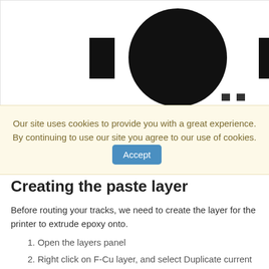[Figure (illustration): Engineering diagram showing a circular PCB component with rectangular pads on left and right sides, viewed from above, on a white background.]
Our site uses cookies to provide you with a great experience. By continuing to use our site you agree to our use of cookies. Accept
Creating the paste layer
Before routing your tracks, we need to create the layer for the printer to extrude epoxy onto.
1. Open the layers panel
2. Right click on F-Cu layer, and select Duplicate current layer
3. Rename the new layer to F-Paste